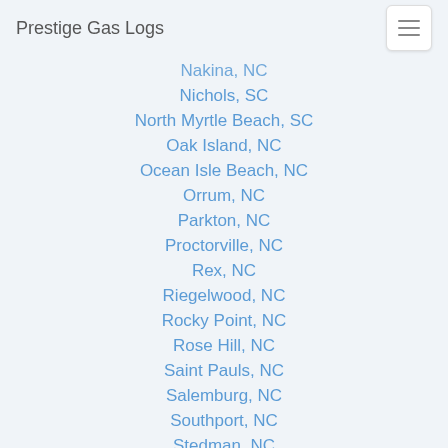Prestige Gas Logs
Nakina, NC
Nichols, SC
North Myrtle Beach, SC
Oak Island, NC
Ocean Isle Beach, NC
Orrum, NC
Parkton, NC
Proctorville, NC
Rex, NC
Riegelwood, NC
Rocky Point, NC
Rose Hill, NC
Saint Pauls, NC
Salemburg, NC
Southport, NC
Stedman, NC